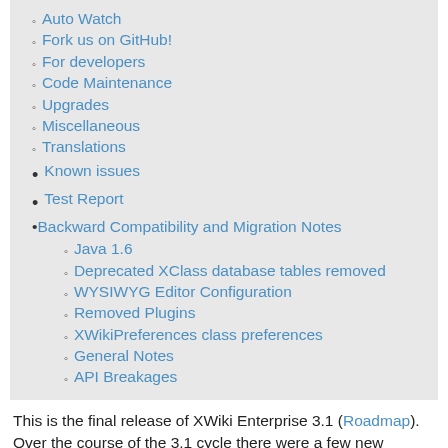Auto Watch
Fork us on GitHub!
For developers
Code Maintenance
Upgrades
Miscellaneous
Translations
Known issues
Test Report
Backward Compatibility and Migration Notes
Java 1.6
Deprecated XClass database tables removed
WYSIWYG Editor Configuration
Removed Plugins
XWikiPreferences class preferences
General Notes
API Breakages
This is the final release of XWiki Enterprise 3.1 (Roadmap). Over the course of the 3.1 cycle there were a few new features added and a lot of improvements in stability, code quality, and other areas.